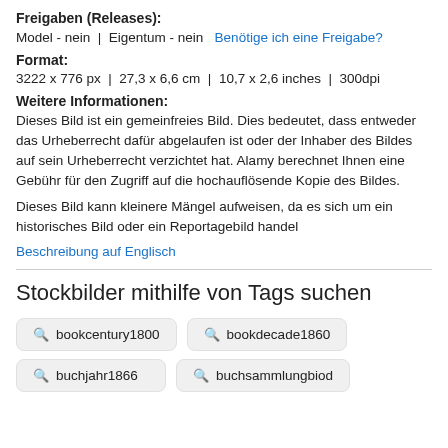Freigaben (Releases):
Model - nein | Eigentum - nein  Benötige ich eine Freigabe?
Format:
3222 x 776 px | 27,3 x 6,6 cm | 10,7 x 2,6 inches | 300dpi
Weitere Informationen:
Dieses Bild ist ein gemeinfreies Bild. Dies bedeutet, dass entweder das Urheberrecht dafür abgelaufen ist oder der Inhaber des Bildes auf sein Urheberrecht verzichtet hat. Alamy berechnet Ihnen eine Gebühr für den Zugriff auf die hochauflösende Kopie des Bildes.
Dieses Bild kann kleinere Mängel aufweisen, da es sich um ein historisches Bild oder ein Reportagebild handel
Beschreibung auf Englisch
Stockbilder mithilfe von Tags suchen
bookcentury1800
bookdecade1860
buchjahr1866
buchsammlungbiod